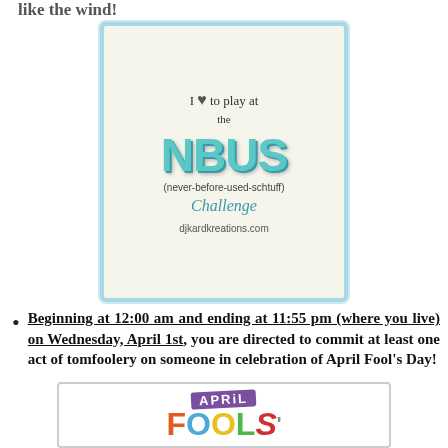like the wind!
[Figure (logo): NBUS challenge badge — teal 3D block letters spelling NBUS, with handwritten text 'I ♥ to play at the', subtitle '(never-before-used-schtuff)', cursive 'Challenge', and URL djkardkreations.com, on a light grid/checkered background with a teal border.]
Beginning at 12:00 am and ending at 11:55 pm (where you live) on Wednesday, April 1st, you are directed to commit at least one act of tomfoolery on someone in celebration of April Fool's Day!
[Figure (illustration): April Fools' Day logo with colorful block letters spelling FOOLS with decorative elements and swirls, with 'APRIL' in a purple banner above.]